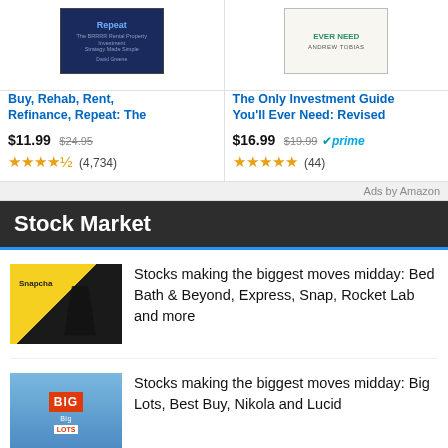[Figure (illustration): Book cover for Buy, Rehab, Rent, Refinance, Repeat - dark blue cover]
Buy, Rehab, Rent, Refinance, Repeat: The
$11.99 $24.95
★★★★½ (4,734)
[Figure (illustration): Book cover for The Only Investment Guide You'll Ever Need - light cover with green text]
The Only Investment Guide You'll Ever Need: Revised
$16.99 $19.99 prime
★★★★★ (44)
Ads by Amazon
Stock Market
[Figure (photo): Snapchat logo/sign with person silhouette]
Stocks making the biggest moves midday: Bed Bath & Beyond, Express, Snap, Rocket Lab and more
[Figure (photo): Big Lots store sign with person in foreground]
Stocks making the biggest moves midday: Big Lots, Best Buy, Nikola and Lucid